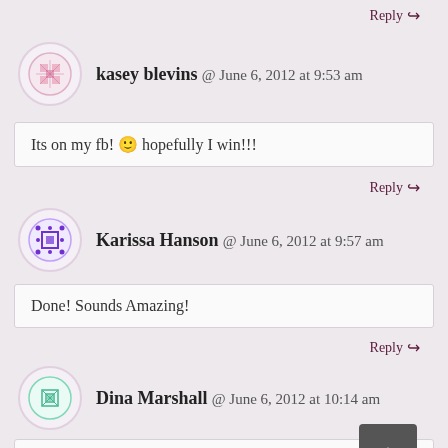Reply
kasey blevins @ June 6, 2012 at 9:53 am
Its on my fb! 🙂 hopefully I win!!!
Reply
Karissa Hanson @ June 6, 2012 at 9:57 am
Done! Sounds Amazing!
Reply
Dina Marshall @ June 6, 2012 at 10:14 am
Facebooking and tweeting
Reply